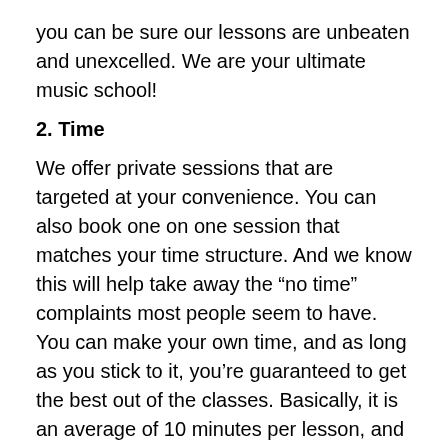you can be sure our lessons are unbeaten and unexcelled. We are your ultimate music school!
2. Time
We offer private sessions that are targeted at your convenience. You can also book one on one session that matches your time structure. And we know this will help take away the “no time” complaints most people seem to have. You can make your own time, and as long as you stick to it, you’re guaranteed to get the best out of the classes. Basically, it is an average of 10 minutes per lesson, and we have 20 lessons in an average class. You can learn piano online from our top-of-the-line tutors.
3. Our pricing